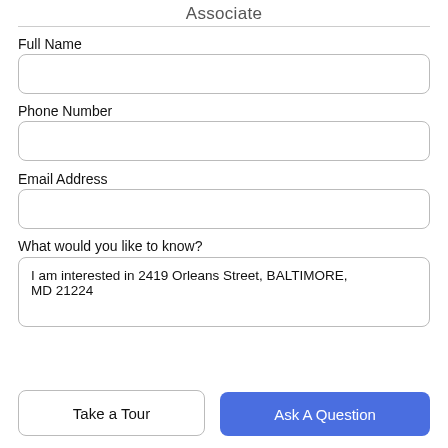Associate
Full Name
Phone Number
Email Address
What would you like to know?
I am interested in 2419 Orleans Street, BALTIMORE, MD 21224
Take a Tour
Ask A Question